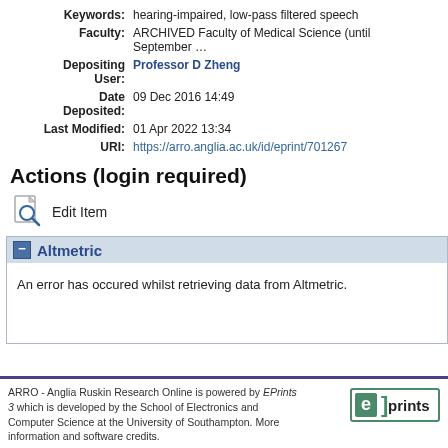| Label | Value |
| --- | --- |
| Keywords: | hearing-impaired, low-pass filtered speech |
| Faculty: | ARCHIVED Faculty of Medical Science (until September… |
| Depositing User: | Professor D Zheng |
| Date Deposited: | 09 Dec 2016 14:49 |
| Last Modified: | 01 Apr 2022 13:34 |
| URI: | https://arro.anglia.ac.uk/id/eprint/701267 |
Actions (login required)
Edit Item
− Altmetric
An error has occured whilst retrieving data from Altmetric.
ARRO - Anglia Ruskin Research Online is powered by EPrints 3 which is developed by the School of Electronics and Computer Science at the University of Southampton. More information and software credits.